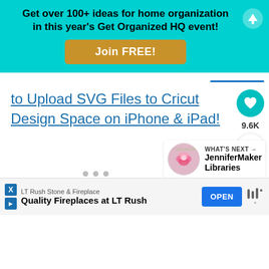[Figure (screenshot): Cyan/teal promotional banner with bold black text: 'Get over 100+ ideas for home organization in this year's Get Organized HQ event!' and a gold 'Join FREE!' button, plus a white up-arrow circle icon top right.]
to Upload SVG Files to Cricut Design Space on iPhone & iPad!
[Figure (infographic): Floating action buttons: teal heart/like button with count 9.6K, and white share button with + icon.]
[Figure (infographic): What's Next section with rose image thumbnail, label 'WHAT'S NEXT →' and text 'JenniferMaker Libraries']
[Figure (screenshot): Advertisement bar at bottom: LT Rush Stone & Fireplace - Quality Fireplaces at LT Rush, with OPEN button and Alexa logo.]